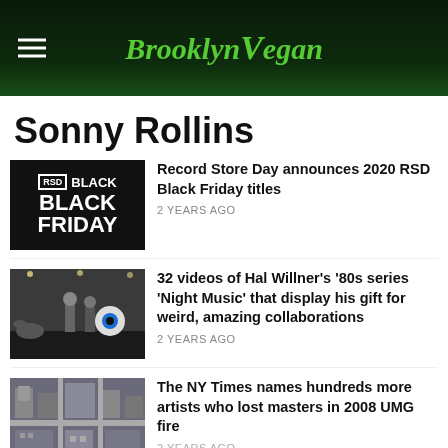BrooklynVegan
Sonny Rollins
[Figure (photo): RSD Black Friday logo thumbnail — black background with RSD box and BLACK FRIDAY text in white]
Record Store Day announces 2020 RSD Black Friday titles
2 YEARS AGO
[Figure (photo): Night Music TV show still — dark stage with musicians performing]
32 videos of Hal Willner's '80s series 'Night Music' that display his gift for weird, amazing collaborations
2 YEARS AGO
[Figure (photo): Aerial view of dense urban area with buildings and streets — UMG fire scene]
The NY Times names hundreds more artists who lost masters in 2008 UMG fire
2 YEARS AGO